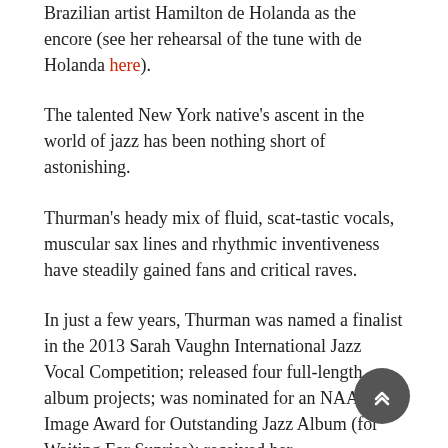Brazilian artist Hamilton de Holanda as the encore (see her rehearsal of the tune with de Holanda here).
The talented New York native's ascent in the world of jazz has been nothing short of astonishing.
Thurman's heady mix of fluid, scat-tastic vocals, muscular sax lines and rhythmic inventiveness have steadily gained fans and critical raves.
In just a few years, Thurman was named a finalist in the 2013 Sarah Vaughn International Jazz Vocal Competition; released four full-length album projects; was nominated for an NAACP Image Award for Outstanding Jazz Album (for Waiting For Sunrise); received her
first Downbeat Magazine Critics Poll nomination for